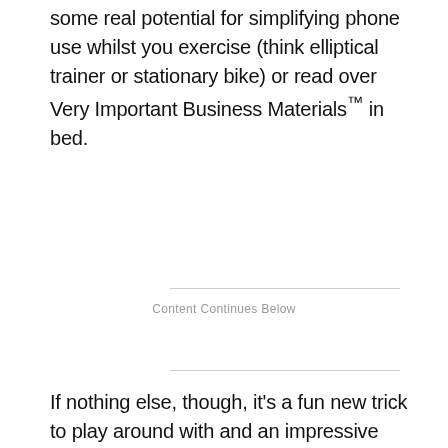some real potential for simplifying phone use whilst you exercise (think elliptical trainer or stationary bike) or read over Very Important Business Materials™ in bed.
Content Continues Below
If nothing else, though, it's a fun new trick to play around with and an impressive demonstration of what our current phone technology makes possible. And it's absolutely a feature worth keeping an eye on as it makes its way into the world and then continues to evolve from there.